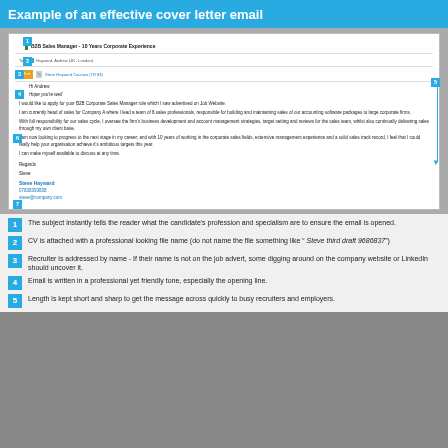Example of an effective cover letter email
[Figure (screenshot): Screenshot of a cover letter email with numbered annotation callouts (1-7) and a vertical arrow (5) indicating email length. The email subject is 'B2B Sales Manager - 10 Years Corporate Experience', sent to Hayward, Andrew (JK - London). It has an attachment 'Steve Hayward Courses (TR 83)'. The body greets 'Hi Andrew', opens with 'Hope you're well', and contains paragraphs applying for a B2B Corporate Sales Manager role. Signed 'Steve' with signature 'Steve Hayward', phone 07838393838, email steve@company.com.]
The subject instantly tells the reader what the candidate's profession and specialism are to ensure the email is opened.
CV is attached with a professional looking file name (do not name the file something like " Steve third draft 9686837")
Recruiter is addressed by name - If their name is not on the job advert, some digging around on the company website or LinkedIn should uncover it.
Email is written in a professional yet friendly tone, especially the opening line.
Length is kept short and sharp to get the message across quickly to busy recruiters and employers.